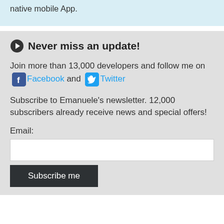native mobile App.
Never miss an update!
Join more than 13,000 developers and follow me on Facebook and Twitter
Subscribe to Emanuele's newsletter. 12,000 subscribers already receive news and special offers!
Email: